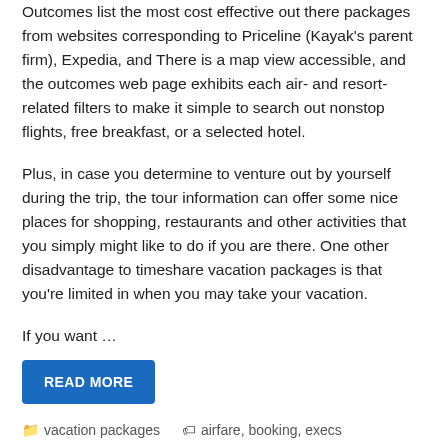Outcomes list the most cost effective out there packages from websites corresponding to Priceline (Kayak's parent firm), Expedia, and There is a map view accessible, and the outcomes web page exhibits each air- and resort-related filters to make it simple to search out nonstop flights, free breakfast, or a selected hotel.
Plus, in case you determine to venture out by yourself during the trip, the tour information can offer some nice places for shopping, restaurants and other activities that you simply might like to do if you are there. One other disadvantage to timeshare vacation packages is that you're limited in when you may take your vacation.
If you want …
READ MORE
vacation packages   airfare, booking, execs